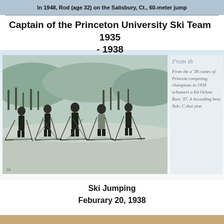In 1948, Rod (age 32) on the Salisbury, Ct., 60-meter jump
Captain of the Princeton University Ski Team 1935 - 1938
[Figure (photo): Black and white photograph of five skiers standing in a row on a snowy slope, holding ski poles, with a winter landscape and bare trees in the background. The Princeton University Ski Team, circa 1935-1938.]
From th

From the a '38 comes of Princeta competing champions in 1934 schussers a Ed Oelsn Ross '37, According beat Yale, C that year
Ski Jumping
Feburary 20, 1938